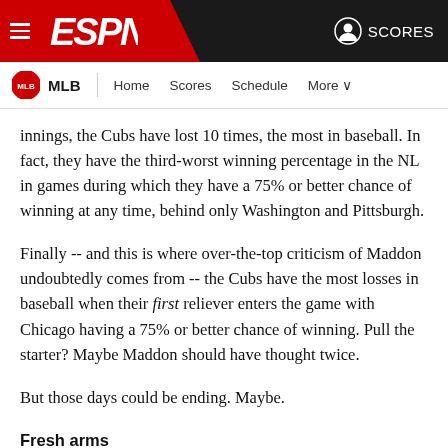ESPN - MLB - Home Scores Schedule More - SCORES
innings, the Cubs have lost 10 times, the most in baseball. In fact, they have the third-worst winning percentage in the NL in games during which they have a 75% or better chance of winning at any time, behind only Washington and Pittsburgh.
Finally -- and this is where over-the-top criticism of Maddon undoubtedly comes from -- the Cubs have the most losses in baseball when their first reliever enters the game with Chicago having a 75% or better chance of winning. Pull the starter? Maybe Maddon should have thought twice.
But those days could be ending. Maybe.
Fresh arms